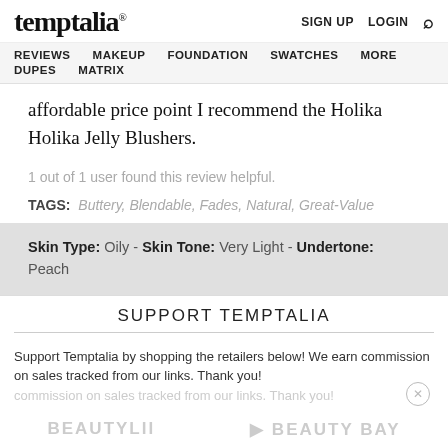temptalia® | SIGN UP | LOGIN | Search
REVIEWS | MAKEUP | FOUNDATION | SWATCHES | MORE | DUPES | MATRIX
affordable price point I recommend the Holika Holika Jelly Blushers.
1 out of 1 user found this review helpful.
TAGS: Buttery, Blendable, Fades, Natural, Great-Value
Skin Type: Oily - Skin Tone: Very Light - Undertone: Peach
SUPPORT TEMPTALIA
Support Temptalia by shopping the retailers below! We earn commission on sales tracked from our links. Thank you!